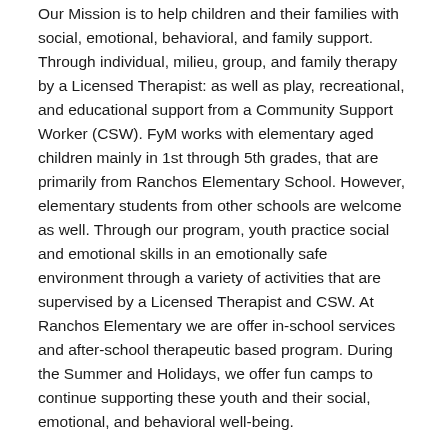Our Mission is to help children and their families with social, emotional, behavioral, and family support. Through individual, milieu, group, and family therapy by a Licensed Therapist: as well as play, recreational, and educational support from a Community Support Worker (CSW). FyM works with elementary aged children mainly in 1st through 5th grades, that are primarily from Ranchos Elementary School. However, elementary students from other schools are welcome as well. Through our program, youth practice social and emotional skills in an emotionally safe environment through a variety of activities that are supervised by a Licensed Therapist and CSW. At Ranchos Elementary we are offer in-school services and after-school therapeutic based program. During the Summer and Holidays, we offer fun camps to continue supporting these youth and their social, emotional, and behavioral well-being.
About:
Launched in 2011, Familia y Mundo is an after-school therapeutic program for elementary school students. The program is housed at Ranchos Elementary School, although participating students